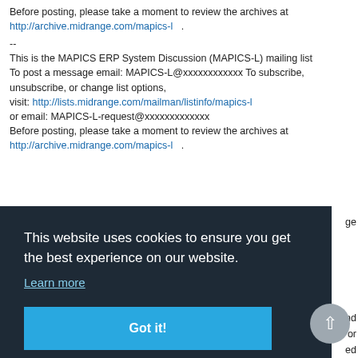Before posting, please take a moment to review the archives at http://archive.midrange.com/mapics-l .
--
This is the MAPICS ERP System Discussion (MAPICS-L) mailing list To post a message email: MAPICS-L@xxxxxxxxxxxx To subscribe, unsubscribe, or change list options, visit: http://lists.midrange.com/mailman/listinfo/mapics-l or email: MAPICS-L-request@xxxxxxxxxxxxx Before posting, please take a moment to review the archives at http://archive.midrange.com/mapics-l .
[Figure (screenshot): Cookie consent overlay with dark background (#1e2a36) containing text 'This website uses cookies to ensure you get the best experience on our website.', a 'Learn more' link in light blue, and a cyan 'Got it!' button. A scroll-to-top circular button is visible on the right side.]
recipient(s) and should "only" pertain to "WalzCraft" company